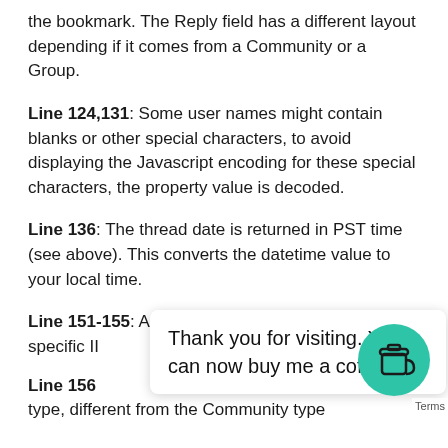the bookmark. The Reply field has a different layout depending if it comes from a Community or a Group.
Line 124,131: Some user names might contain blanks or other special characters, to avoid displaying the Javascript encoding for these special characters, the property value is decoded.
Line 136: The thread date is returned in PST time (see above). This converts the datetime value to your local time.
Line 151-155: All the VMTN Communities have a specific II                                    search URL.
Thank you for visiting. You can now buy me a coffee!
Line 156                                               spec type, different from the Community type